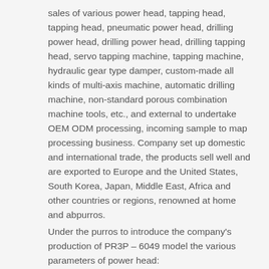sales of various power head, tapping head, tapping head, pneumatic power head, drilling power head, drilling power head, drilling tapping head, servo tapping machine, tapping machine, hydraulic gear type damper, custom-made all kinds of multi-axis machine, automatic drilling machine, non-standard porous combination machine tools, etc., and external to undertake OEM ODM processing, incoming sample to map processing business. Company set up domestic and international trade, the products sell well and are exported to Europe and the United States, South Korea, Japan, Middle East, Africa and other countries or regions, renowned at home and abpurros.
Under the purros to introduce the company's production of PR3P – 6049 model the various parameters of power head:
1, model: PR3P – 6049
2, brand: PURROS
3, no-load speed: 4900 r/M
4, drilling diameter: aluminum: Φ 5.5 MM/cast iron: Φ: 2.2 MM/steel Φ 2.2 MM
5, the main shaft trip: 80-120 – mm
6, cutting feed stroke: 0-60 mm
7, motor power: 0.55 KW
8, food thrust: 1200 n